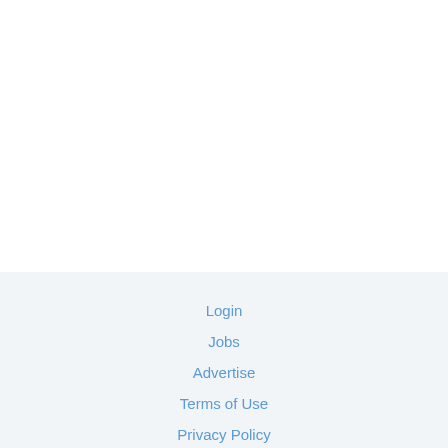Login
Jobs
Advertise
Terms of Use
Privacy Policy
Content Guidelines